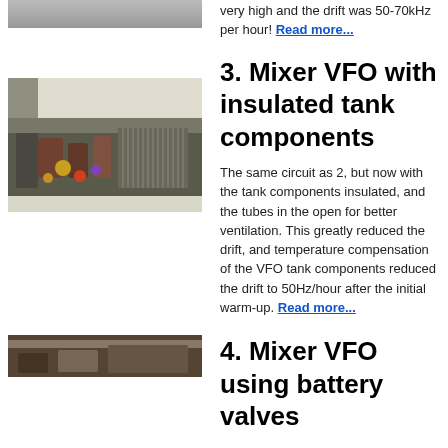[Figure (photo): Top cropped photo of electronic equipment]
very high and the drift was 50-70kHz per hour! Read more...
[Figure (photo): Photo of a mixer VFO circuit with insulated tank components, showing tubes, coils and capacitors in an open chassis]
3. Mixer VFO with insulated tank components
The same circuit as 2, but now with the tank components insulated, and the tubes in the open for better ventilation. This greatly reduced the drift, and temperature compensation of the VFO tank components reduced the drift to 50Hz/hour after the initial warm-up. Read more...
[Figure (photo): Bottom cropped photo of electronic equipment (partially visible)]
4. Mixer VFO using battery valves